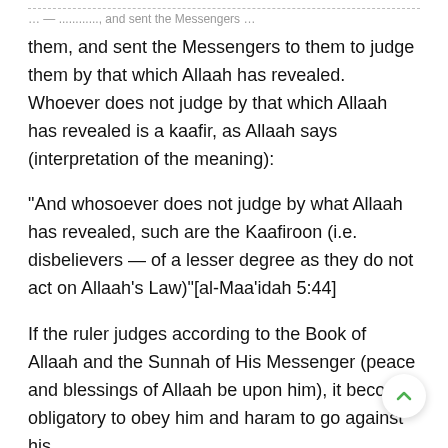… them, and sent them by …
them, and sent the Messengers to them to judge them by that which Allaah has revealed. Whoever does not judge by that which Allaah has revealed is a kaafir, as Allaah says (interpretation of the meaning):
“And whosoever does not judge by what Allaah has revealed, such are the Kaafiroon (i.e. disbelievers — of a lesser degree as they do not act on Allaah’s Law)”[al-Maa'idah 5:44]
If the ruler judges according to the Book of Allaah and the Sunnah of His Messenger (peace and blessings of Allaah be upon him), it becomes obligatory to obey him and haram to go against him